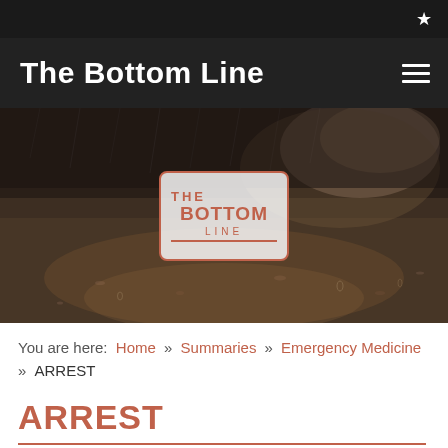★
The Bottom Line
[Figure (photo): Rainy wet ground/road surface with bokeh lighting in dark moody tones, with 'The Bottom Line' logo overlay in orange/salmon color on white rounded rectangle]
You are here: Home » Summaries » Emergency Medicine » ARREST
ARREST